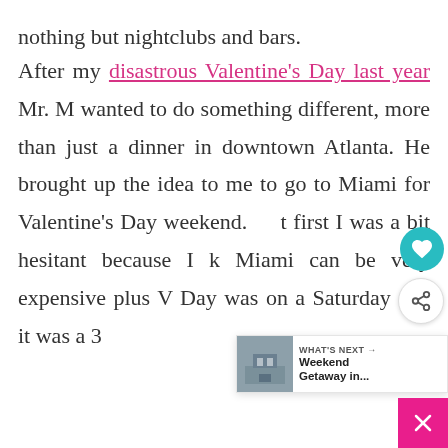nothing but nightclubs and bars.
After my disastrous Valentine's Day last year Mr. M wanted to do something different, more than just a dinner in downtown Atlanta. He brought up the idea to me to go to Miami for Valentine's Day weekend. At first I was a bit hesitant because I k[new] Miami can be very expensive plus [Valentine's] Day was on a Saturday and it was a 3 [day] weekend...
[Figure (screenshot): Social media overlay widgets: heart/love icon in teal circle, share icon in white circle, and a 'What's Next' card showing a building photo with text 'Weekend Getaway in...' and a pink close button.]